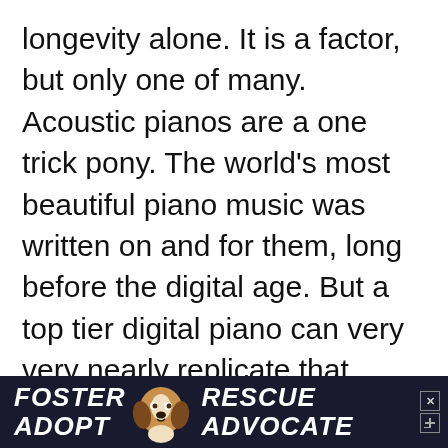longevity alone. It is a factor, but only one of many. Acoustic pianos are a one trick pony. The world's most beautiful piano music was written on and for them, long before the digital age. But a top tier digital piano can very very nearly replicate that sound and do so much more. It's a significant 20th century invention that inspires hours of creative expression otherwise impossible in the nineteenth century. The innovations at your fingertips, especially for
[Figure (infographic): Advertisement banner at bottom of page showing 'FOSTER ADOPT' on left, a beagle dog image in center, 'RESCUE ADVOCATE' on right, with close buttons, on dark navy background]